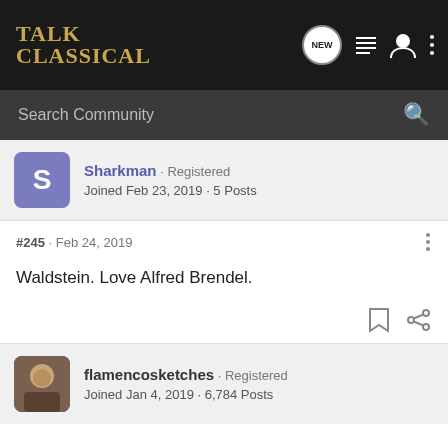TalkClassical
Search Community
Sharkman · Registered
Joined Feb 23, 2019 · 5 Posts
#245 · Feb 24, 2019
Waldstein. Love Alfred Brendel.
flamencosketches · Registered
Joined Jan 4, 2019 · 6,784 Posts